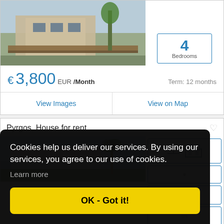[Figure (photo): Exterior photo of a house with stone facade and wooden fence]
4
Bedrooms
€ 3,800 EUR /Month
Term: 12 months
View Images
View on Map
Pyrgos, House for rent
[Figure (photo): Exterior photo of a white house with palm trees]
Cookies help us deliver our services. By using our services, you agree to our use of cookies.
Learn more
OK - Got it!
€ 5,500 EUR /Month
Term: 12 months